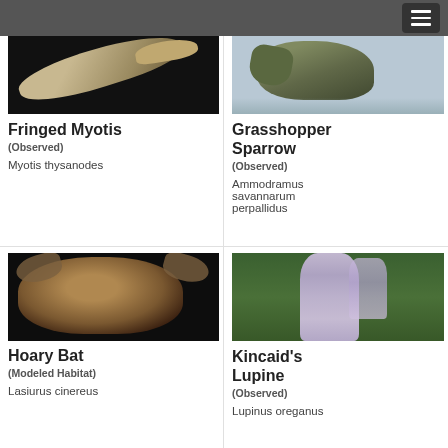Navigation menu
[Figure (photo): Fringed Myotis bat in flight against dark background]
Fringed Myotis
(Observed)
Myotis thysanodes
[Figure (photo): Grasshopper Sparrow bird perched on grass stem against pale blue-grey background]
Grasshopper Sparrow
(Observed)
Ammodramus savannarum perpallidus
[Figure (photo): Hoary Bat face close-up against dark background]
Hoary Bat
(Modeled Habitat)
Lasiurus cinereus
[Figure (photo): Kincaid's Lupine purple flowers against green background]
Kincaid's Lupine
(Observed)
Lupinus oreganus